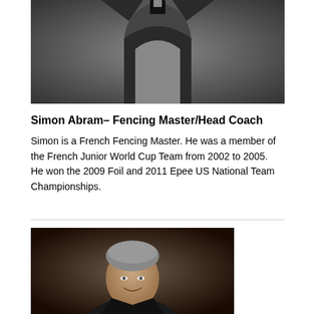[Figure (photo): Photo of Simon Abram in fencing attire, cropped at torso level, dark background]
Simon Abram– Fencing Master/Head Coach
Simon is a French Fencing Master. He was a member of the French Junior World Cup Team from 2002 to 2005. He won the 2009 Foil and 2011 Epee US National Team Championships.
[Figure (photo): Portrait photo of a man with gray hair, smiling, dark background, cropped at chest level]